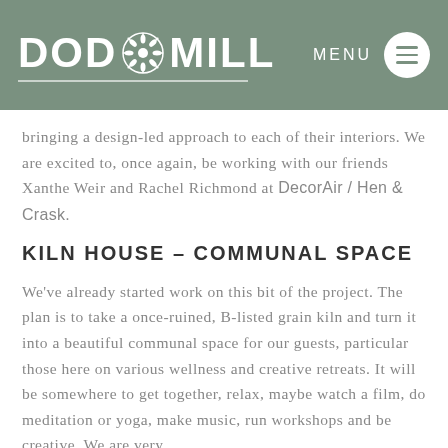DOD MILL — MENU
bringing a design-led approach to each of their interiors. We are excited to, once again, be working with our friends Xanthe Weir and Rachel Richmond at DecorAir / Hen & Crask.
KILN HOUSE – COMMUNAL SPACE
We've already started work on this bit of the project. The plan is to take a once-ruined, B-listed grain kiln and turn it into a beautiful communal space for our guests, particular those here on various wellness and creative retreats. It will be somewhere to get together, relax, maybe watch a film, do meditation or yoga, make music, run workshops and be creative. We are very